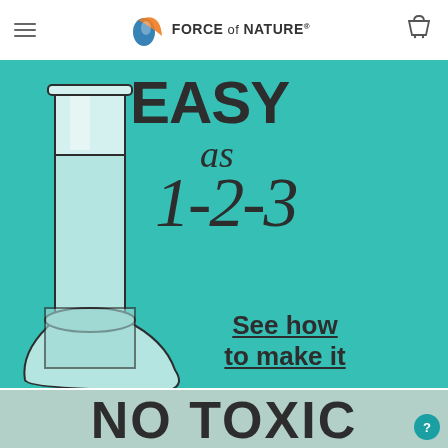FORCE of NATURE
[Figure (illustration): Teal background banner with large bold text 'EASY as 1-2-3' in handwritten style, and a laboratory flask illustration on the left. Text 'See how to make it' underlined at bottom right.]
[Figure (illustration): Light sage/teal background banner with bold text 'NO TOXIC' in large dark letters at the bottom.]